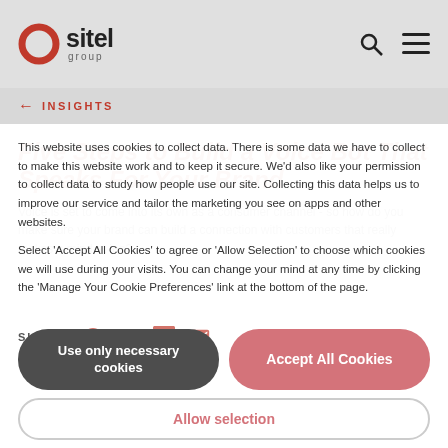Sitel Group
← INSIGHTS
Five Steps to Build a Voice Bot That Speaks For Your Brand
Voice is set to come into its own as a consumer channel - so how do you make sure your brand can build a connection with customers that really makes a mind at ion?
This website uses cookies to collect data. There is some data we have to collect to make this website work and to keep it secure. We'd also like your permission to collect data to study how people use our site. Collecting this data helps us to improve our service and tailor the marketing you see on apps and other websites. Select 'Accept All Cookies' to agree or 'Allow Selection' to choose which cookies we will use during your visits. You can change your mind at any time by clicking the 'Manage Your Cookie Preferences' link at the bottom of the page.
SHARE
Use only necessary cookies
Accept All Cookies
Allow selection